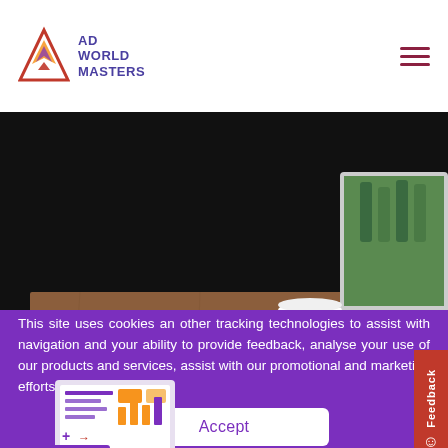AD WORLD MASTERS
[Figure (photo): Laptop on a wooden table with a coffee cup in a cafe setting, dark background]
Website for Stakhami
[Figure (illustration): Isometric illustration of a computer monitor with charts and a laptop on an orange circular base]
This site uses cookies an other tracking technologies to assist with navigation and your ability to provide feedback, analyse your use of our products and services, assist with our promotional and marketing efforts.
Accept